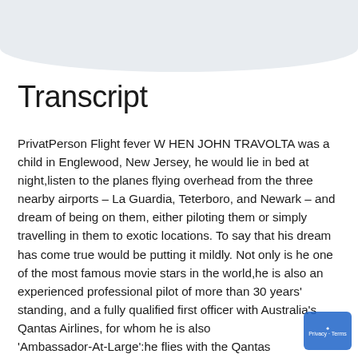[Figure (illustration): Light blue/grey semicircular or rounded shape at the top of the page, representing a decorative header image area]
Transcript
PrivatPerson Flight fever W HEN JOHN TRAVOLTA was a child in Englewood, New Jersey, he would lie in bed at night,listen to the planes flying overhead from the three nearby airports – La Guardia, Teterboro, and Newark – and dream of being on them, either piloting them or simply travelling in them to exotic locations. To say that his dream has come true would be putting it mildly. Not only is he one of the most famous movie stars in the world,he is also an experienced professional pilot of more than 30 years' standing, and a fully qualified first officer with Australia's Qantas Airlines, for whom he is also 'Ambassador-At-Large':he flies with the Qantas